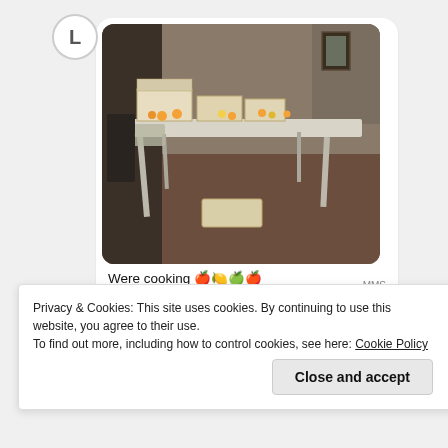[Figure (photo): A long folding table with boxes of fruit (oranges, apples, lemons) arranged on top, in a room with brown carpet and dark walls. A chat message photo shared via MMS.]
Were cooking 🍎🍋🍏🍎 🍇
MMS
8:53 AM
Privacy & Cookies: This site uses cookies. By continuing to use this website, you agree to their use.
To find out more, including how to control cookies, see here: Cookie Policy
Close and accept